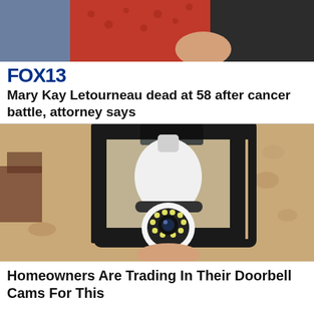[Figure (photo): Two people sitting together, one in a red patterned top, one in a black top]
FOX13
Mary Kay Letourneau dead at 58 after cancer battle, attorney says
[Figure (photo): A smart security camera shaped like a light bulb installed in an outdoor lantern fixture mounted on a textured stucco wall]
Homeowners Are Trading In Their Doorbell Cams For This